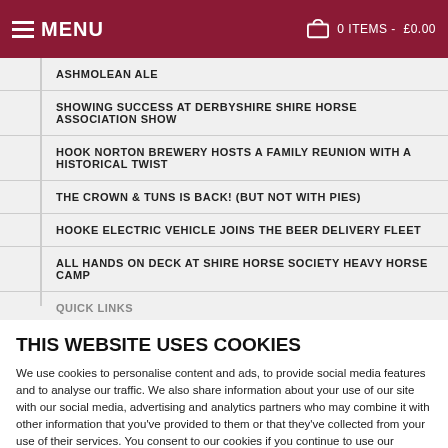MENU  0 ITEMS -  £0.00
ASHMOLEAN ALE
SHOWING SUCCESS AT DERBYSHIRE SHIRE HORSE ASSOCIATION SHOW
HOOK NORTON BREWERY HOSTS A FAMILY REUNION WITH A HISTORICAL TWIST
THE CROWN & TUNS IS BACK! (BUT NOT WITH PIES)
HOOKE ELECTRIC VEHICLE JOINS THE BEER DELIVERY FLEET
ALL HANDS ON DECK AT SHIRE HORSE SOCIETY HEAVY HORSE CAMP
QUICK LINKS
THIS WEBSITE USES COOKIES
We use cookies to personalise content and ads, to provide social media features and to analyse our traffic. We also share information about your use of our site with our social media, advertising and analytics partners who may combine it with other information that you've provided to them or that they've collected from your use of their services. You consent to our cookies if you continue to use our website.
OK
Necessary  Preferences  Statistics  Marketing  Show details